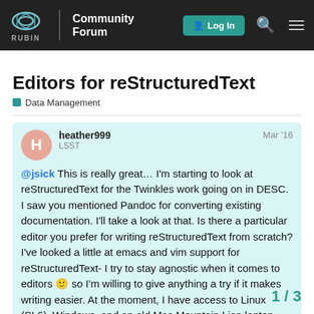RUBIN Community Forum  Log In
Editors for reStructuredText
Data Management
heather999  LSST  Mar '16  @jsick This is really great… I'm starting to look at reStructuredText for the Twinkles work going on in DESC. I saw you mentioned Pandoc for converting existing documentation. I'll take a look at that. Is there a particular editor you prefer for writing reStructuredText from scratch? I've looked a little at emacs and vim support for reStructuredText- I try to stay agnostic when it comes to editors 🙂 so I'm willing to give anything a try if it makes writing easier. At the moment, I have access to Linux (SL6), Windows, and an old Mac Mountain Lion laptop - I'm thinking to stick w...  doc.
1 / 3